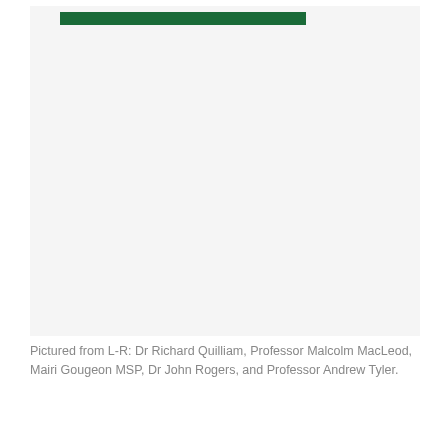[Figure (photo): A photograph showing four people pictured from left to right: Dr Richard Quilliam, Professor Malcolm MacLeod, Mairi Gougeon MSP, Dr John Rogers, and Professor Andrew Tyler. A green horizontal bar appears at the top of the image area.]
Pictured from L-R: Dr Richard Quilliam, Professor Malcolm MacLeod, Mairi Gougeon MSP, Dr John Rogers, and Professor Andrew Tyler.